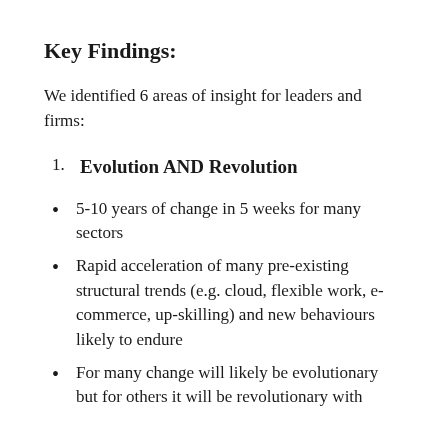Key Findings:
We identified 6 areas of insight for leaders and firms:
Evolution AND Revolution
5-10 years of change in 5 weeks for many sectors
Rapid acceleration of many pre-existing structural trends (e.g. cloud, flexible work, e-commerce, up-skilling) and new behaviours likely to endure
For many change will likely be evolutionary but for others it will be revolutionary with